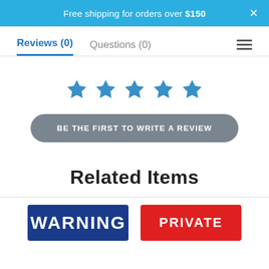Free shipping for orders over $150
Reviews (0)   Questions (0)
[Figure (other): Five blue star icons for rating]
BE THE FIRST TO WRITE A REVIEW
Related Items
[Figure (other): WARNING product thumbnail with dark blue background]
[Figure (other): PRIVATE product thumbnail with red background]